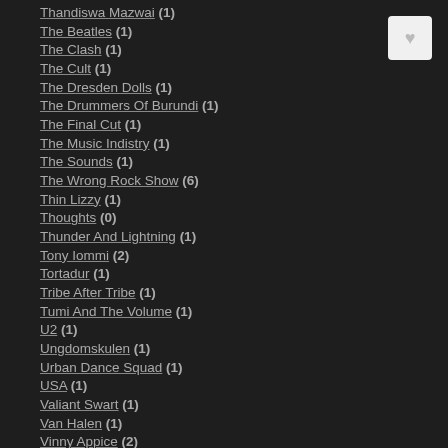Thandiswa Mazwai (1)
The Beatles (1)
The Clash (1)
The Cult (1)
The Dresden Dolls (1)
The Drummers Of Burundi (1)
The Final Cut (1)
The Music Indistry (1)
The Sounds (1)
The Wrong Rock Show (6)
Thin Lizzy (1)
Thoughts (0)
Thunder And Lightning (1)
Tony Iommi (2)
Tortadur (1)
Tribe After Tribe (1)
Tumi And The Volume (1)
U2 (1)
Ungdomskulen (1)
Urban Dance Squad (1)
USA (1)
Valiant Swart (1)
Van Halen (1)
Vinny Appice (2)
War (1)